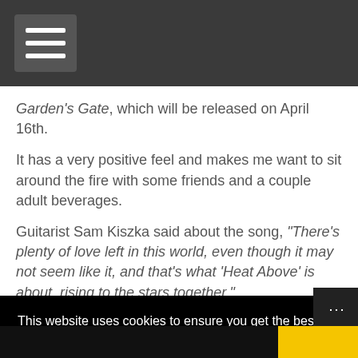[Navigation bar with hamburger menu]
Garden's Gate, which will be released on April 16th.
It has a very positive feel and makes me want to sit around the fire with some friends and a couple adult beverages.
Guitarist Sam Kiszka said about the song, "There's plenty of love left in this world, even though it may not seem like it, and that's what 'Heat Above' is about, rising to the stars together."
The Battle of Garden's Gate is the follow-up to the band's 2019 debut album, Anthems of the Peaceful Army
This website uses cookies to ensure you get the best experience on our website. Cookie policy   Privacy policy
Got it!